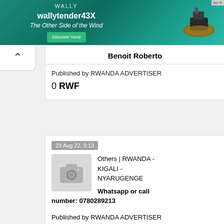[Figure (screenshot): Advertisement banner for Wally wallytender43X boat - 'The Other Side of the Wind' with Discover more button and aerial boat photo on teal water background]
Benoit Roberto
Published by RWANDA ADVERTISER
0 RWF
23 Aug 22, 0:13
[Figure (photo): Camera placeholder icon on grey background]
Others | RWANDA - KIGALI - NYARUGENGE
Whatsapp or call number: 0780289213
Published by RWANDA ADVERTISER